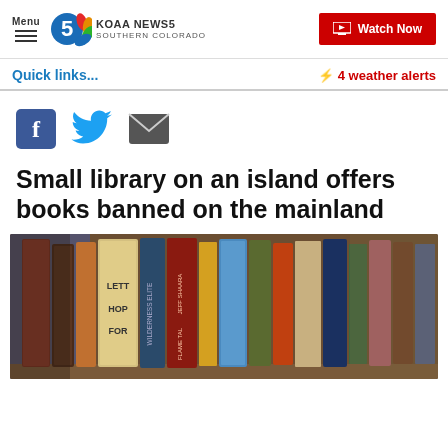Menu | KOAA NEWS5 SOUTHERN COLORADO | Watch Now
Quick links...
⚡ 4 weather alerts
[Figure (other): Social media share icons: Facebook, Twitter, Email]
Small library on an island offers books banned on the mainland
[Figure (photo): Photo of books on a library shelf, showing spines of various books including titles with text like LETT, HOP, FOR, JEFF SHAARA, and others. Blurred background with blue lighting.]